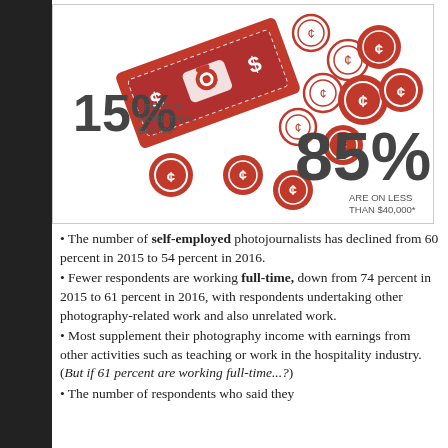[Figure (infographic): Infographic showing coins and a dollar bill. 15% are paid more than $40,000. 85% are on less than $40,000.]
The number of self-employed photojournalists has declined from 60 percent in 2015 to 54 percent in 2016.
Fewer respondents are working full-time, down from 74 percent in 2015 to 61 percent in 2016, with respondents undertaking other photography-related work and also unrelated work.
Most supplement their photography income with earnings from other activities such as teaching or work in the hospitality industry.  (But if 61 percent are working full-time...?)
The number of respondents who said they